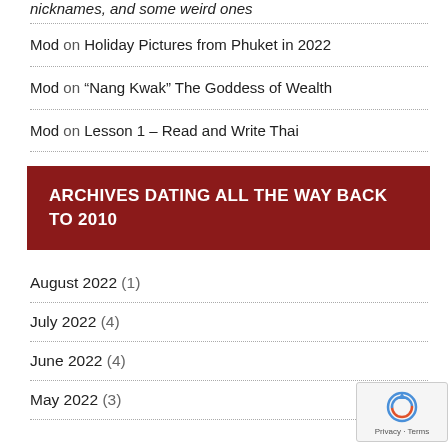nicknames, and some weird ones
Mod on Holiday Pictures from Phuket in 2022
Mod on “Nang Kwak” The Goddess of Wealth
Mod on Lesson 1 – Read and Write Thai
ARCHIVES DATING ALL THE WAY BACK TO 2010
August 2022 (1)
July 2022 (4)
June 2022 (4)
May 2022 (3)